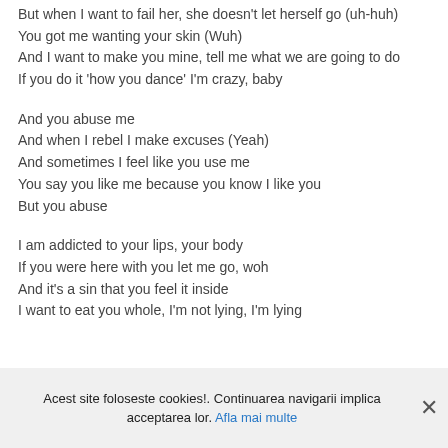But when I want to fail her, she doesn't let herself go (uh-huh)
You got me wanting your skin (Wuh)
And I want to make you mine, tell me what we are going to do
If you do it 'how you dance' I'm crazy, baby
And you abuse me
And when I rebel I make excuses (Yeah)
And sometimes I feel like you use me
You say you like me because you know I like you
But you abuse
I am addicted to your lips, your body
If you were here with you let me go, woh
And it's a sin that you feel it inside
I want to eat you whole, I'm not lying, I'm lying
Acest site foloseste cookies!. Continuarea navigarii implica acceptarea lor. Afla mai multe